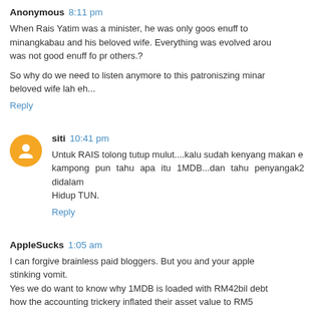Anonymous 8:11 pm
When Rais Yatim was a minister, he was only goos enuff to minangkabau and his beloved wife. Everything was evolved arou was not good enuff fo pr others.?
So why do we need to listen anymore to this patroniszing minar beloved wife lah eh...
Reply
siti 10:41 pm
Untuk RAIS tolong tutup mulut....kalu sudah kenyang makan e kampong pun tahu apa itu 1MDB...dan tahu penyangak2 didalam Hidup TUN.
Reply
AppleSucks 1:05 am
I can forgive brainless paid bloggers. But you and your apple stinking vomit. Yes we do want to know why 1MDB is loaded with RM42bil deb how the accounting trickery inflated their asset value to RM5